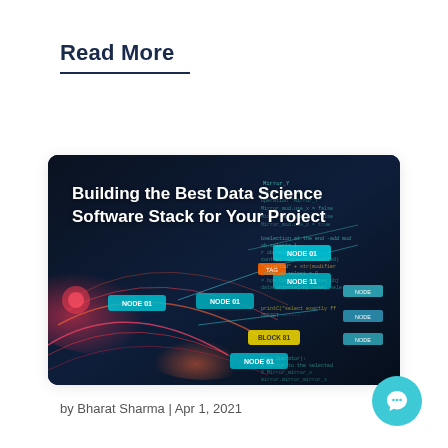Read More
[Figure (photo): Dark-themed data science / node graph visualization image with colorful glowing nodes, connection lines, and code text visible on the right side. Title text 'Building the Best Data Science Software Stack for Your Project' overlaid in white bold text.]
by Bharat Sharma | Apr 1, 2021